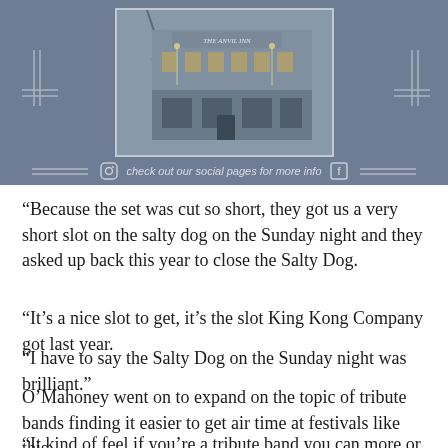[Figure (photo): A social media promotional image showing 'The Anvil Inn' pub building with decorative bracket framing elements and text reading 'check out our social pages for more info' with Instagram and Facebook icons, on a slate-blue background.]
“Because the set was cut so short, they got us a very short slot on the salty dog on the Sunday night and they asked up back this year to close the Salty Dog.
“It’s a nice slot to get, it’s the slot King Kong Company got last year.
“I have to say the Salty Dog on the Sunday night was brilliant.”
O’Mahoney went on to expand on the topic of tribute bands finding it easier to get air time at festivals like this.
“It kind of feel if you’re a tribute band you can more or time on the